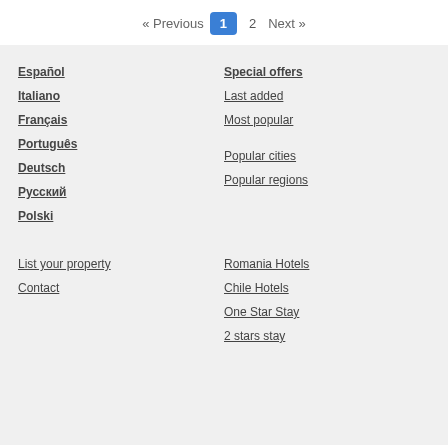« Previous  1  2  Next »
Español
Italiano
Français
Português
Deutsch
Русский
Polski
Special offers
Last added
Most popular
Popular cities
Popular regions
List your property
Contact
Romania Hotels
Chile Hotels
One Star Stay
2 stars stay